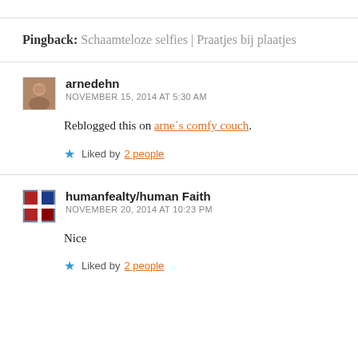Pingback: Schaamteloze selfies | Praatjes bij plaatjes
arnedehn
NOVEMBER 15, 2014 AT 5:30 AM
Reblogged this on arne´s comfy couch.
Liked by 2 people
humanfealty/human Faith
NOVEMBER 20, 2014 AT 10:23 PM
Nice
Liked by 2 people